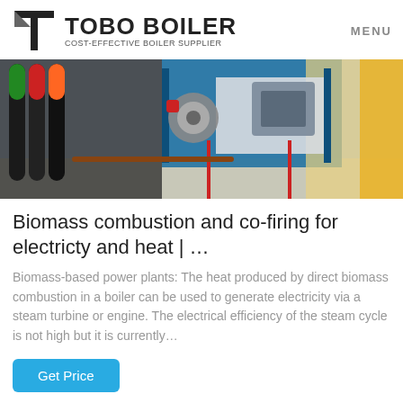TOBO BOILER COST-EFFECTIVE BOILER SUPPLIER | MENU
[Figure (photo): Industrial boiler equipment and piping inside a facility with blue metal structure, pipes, valves and machinery visible.]
Biomass combustion and co-firing for electricty and heat | …
Biomass-based power plants: The heat produced by direct biomass combustion in a boiler can be used to generate electricity via a steam turbine or engine. The electrical efficiency of the steam cycle is not high but it is currently…
Get Price